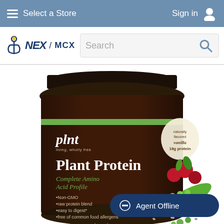Select a Store   Sign in
[Figure (logo): NEX / MCX logo with anchor icon]
[Figure (screenshot): Search bar with magnifying glass icon]
[Figure (photo): plnt Plant Protein supplement jar, brown container with green label band, showing 'Plant Protein Complete Amino Acid Profile, Non-GMO, raw protein blend, easy to digest, free of common food allergens, NET WT. 16 oz. (448 g)', naturally flavored vanilla, 18g protein, with images of cranberries, pea pod, chia seeds, and peas]
Agent Offline